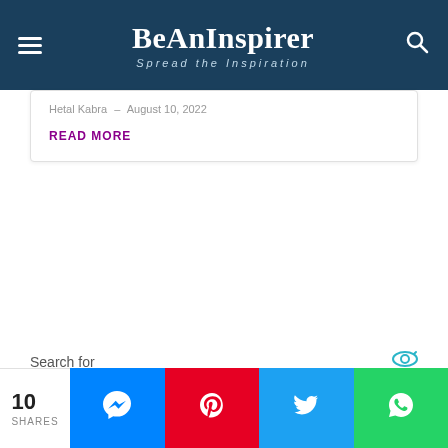BeAnInspirer – Spread the Inspiration
Hetal Kabra – August 10, 2022
READ MORE
Search for
WAREHOUSE JOBS NEAR ME
10 SHARES